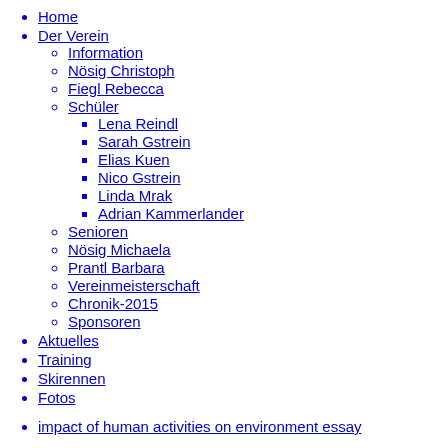Home
Der Verein
Information
Nösig Christoph
Fiegl Rebecca
Schüler
Lena Reindl
Sarah Gstrein
Elias Kuen
Nico Gstrein
Linda Mrak
Adrian Kammerlander
Senioren
Nösig Michaela
Prantl Barbara
Vereinmeisterschaft
Chronik-2015
Sponsoren
Aktuelles
Training
Skirennen
Fotos
impact of human activities on environment essay